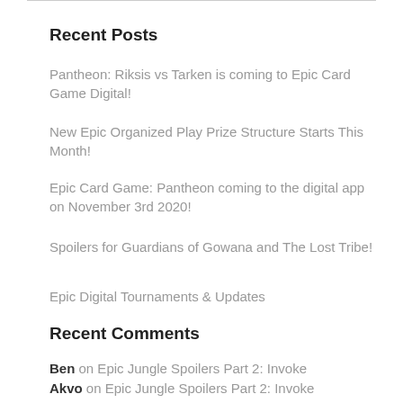Recent Posts
Pantheon: Riksis vs Tarken is coming to Epic Card Game Digital!
New Epic Organized Play Prize Structure Starts This Month!
Epic Card Game: Pantheon coming to the digital app on November 3rd 2020!
Spoilers for Guardians of Gowana and The Lost Tribe!
Epic Digital Tournaments & Updates
Recent Comments
Ben on Epic Jungle Spoilers Part 2: Invoke
Akvo on Epic Jungle Spoilers Part 2: Invoke
Andrew Kapish on Epic Jungle Spoilers Part 1: